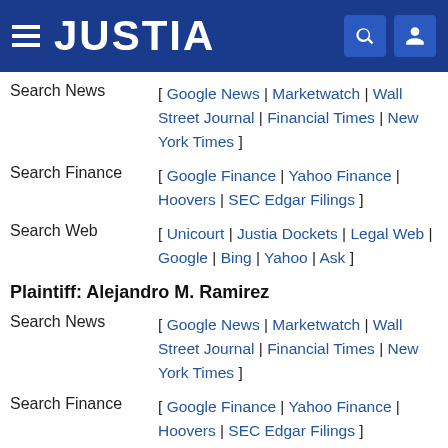JUSTIA
Search News [ Google News | Marketwatch | Wall Street Journal | Financial Times | New York Times ]
Search Finance [ Google Finance | Yahoo Finance | Hoovers | SEC Edgar Filings ]
Search Web [ Unicourt | Justia Dockets | Legal Web | Google | Bing | Yahoo | Ask ]
Plaintiff: Alejandro M. Ramirez
Search News [ Google News | Marketwatch | Wall Street Journal | Financial Times | New York Times ]
Search Finance [ Google Finance | Yahoo Finance | Hoovers | SEC Edgar Filings ]
Search Web [ Unicourt | Justia Dockets | Legal Web | Google | Bing | Yahoo | Ask ]